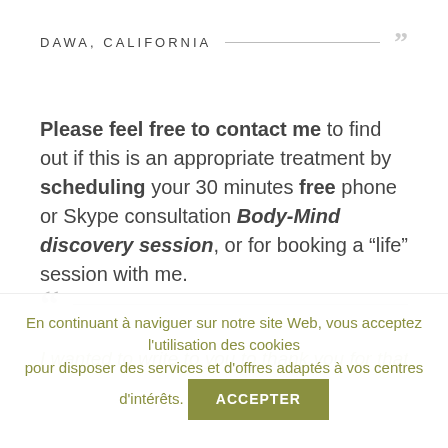DAWA, CALIFORNIA
Please feel free to contact me to find out if this is an appropriate treatment by scheduling your 30 minutes free phone or Skype consultation Body-Mind discovery session, or for booking a "life" session with me.
I wanted to write to you to thank you for that amazing
En continuant à naviguer sur notre site Web, vous acceptez l'utilisation des cookies pour disposer des services et d'offres adaptés à vos centres d'intérêts. ACCEPTER